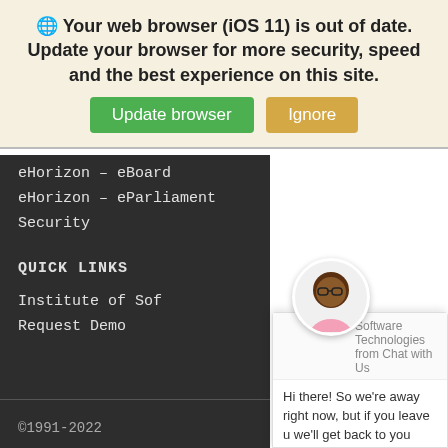🌐 Your web browser (iOS 11) is out of date. Update your browser for more security, speed and the best experience on this site.
[Figure (screenshot): Two buttons: green 'Update browser' and orange 'Ignore']
eHorizon – eBoard
eHorizon – eParliament
Security
QUICK LINKS
Institute of Sof
Request Demo
[Figure (screenshot): Chat popup from Software Technologies with avatar, message 'Hi there! So we're away right now, but if you leave u we'll get back to you soon.' and reply input field with 'Chat by Drift' footer]
©1991-2022